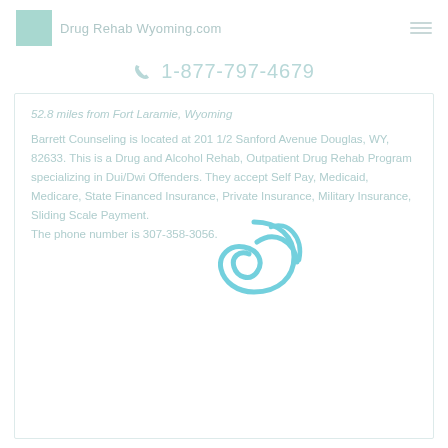Drug Rehab Wyoming.com
1-877-797-4679
52.8 miles from Fort Laramie, Wyoming
Barrett Counseling is located at 201 1/2 Sanford Avenue Douglas, WY, 82633. This is a Drug and Alcohol Rehab, Outpatient Drug Rehab Program specializing in Dui/Dwi Offenders. They accept Self Pay, Medicaid, Medicare, State Financed Insurance, Private Insurance, Military Insurance, Sliding Scale Payment. The phone number is 307-358-3056.
[Figure (logo): Blue stylized alpha/fish symbol watermark]